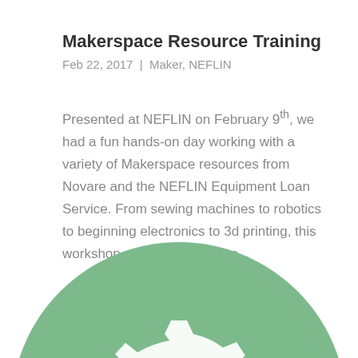Makerspace Resource Training
Feb 22, 2017 | Maker, NEFLIN
Presented at NEFLIN on February 9th, we had a fun hands-on day working with a variety of Makerspace resources from Novare and the NEFLIN Equipment Loan Service. From sewing machines to robotics to beginning electronics to 3d printing, this workshop gave participants a...
[Figure (illustration): A green circle with a white gear/cog icon in the center, partially cropped at the bottom of the page.]